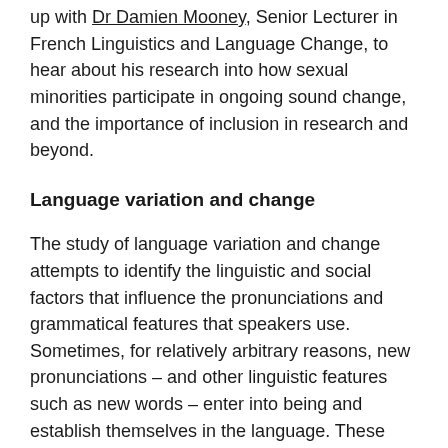up with Dr Damien Mooney, Senior Lecturer in French Linguistics and Language Change, to hear about his research into how sexual minorities participate in ongoing sound change, and the importance of inclusion in research and beyond.
Language variation and change
The study of language variation and change attempts to identify the linguistic and social factors that influence the pronunciations and grammatical features that speakers use. Sometimes, for relatively arbitrary reasons, new pronunciations – and other linguistic features such as new words – enter into being and establish themselves in the language. These slowly replace old pronunciations or ways of speaking. The way this happens is very simple: one speaker who already uses the new feature interacts